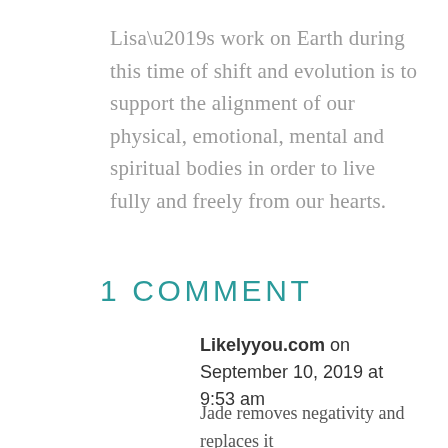Lisa’s work on Earth during this time of shift and evolution is to support the alignment of our physical, emotional, mental and spiritual bodies in order to live fully and freely from our hearts.
1 COMMENT
Likelyyou.com on September 10, 2019 at 9:53 am
Jade removes negativity and replaces it